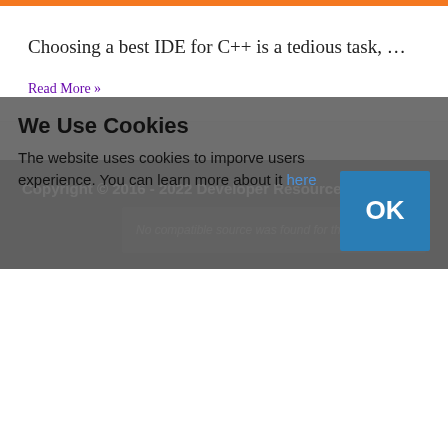Choosing a best IDE for C++ is a tedious task, …
Read More »
Copyright © 2016 - 2022 Developer Resources
No compatible source was found for this
We Use Cookies
The website uses cookies to imporve users experience. You can learn more about it here